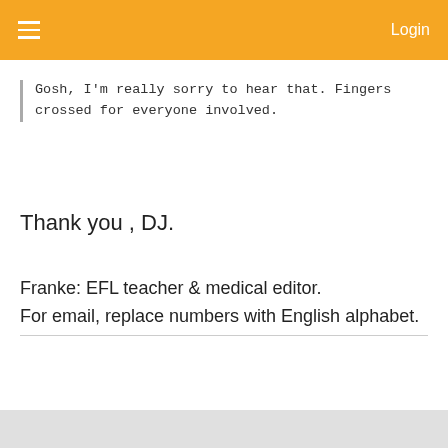Login
Gosh, I'm really sorry to hear that. Fingers crossed for everyone involved.
Thank you , DJ.
Franke: EFL teacher & medical editor.
For email, replace numbers with English alphabet.